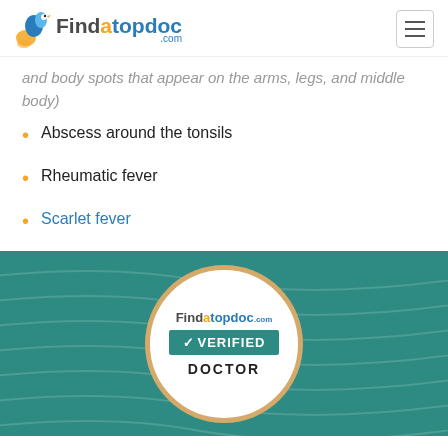Findatopdoc.com
and body spots that appear on the arms, legs, and middle body)
Abscess around the tonsils
Rheumatic fever
Scarlet fever
[Figure (logo): Findatopdoc Verified Doctor badge — circular badge with teal background, gold border, showing Findatopdoc logo, teal VERIFIED bar with checkmark, and DOCTOR text below]